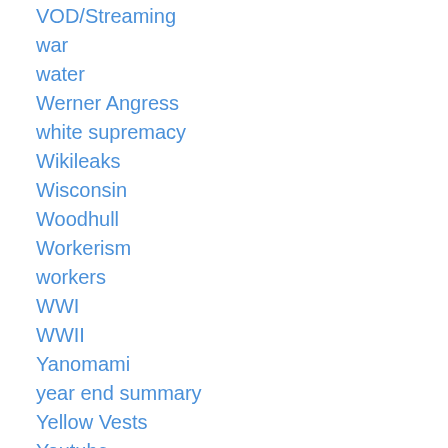VOD/Streaming
war
water
Werner Angress
white supremacy
Wikileaks
Wisconsin
Woodhull
Workerism
workers
WWI
WWII
Yanomami
year end summary
Yellow Vests
Youtube
Yugoslavia
Zimbabwe
zionism
Zizek